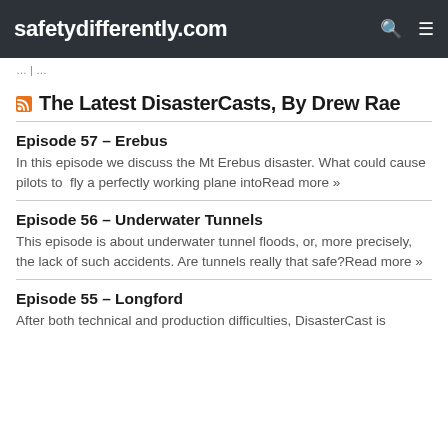safetydifferently.com
The Latest DisasterCasts, By Drew Rae
Episode 57 – Erebus
In this episode we discuss the Mt Erebus disaster. What could cause pilots to  fly a perfectly working plane intoRead more »
Episode 56 – Underwater Tunnels
This episode is about underwater tunnel floods, or, more precisely, the lack of such accidents. Are tunnels really that safe?Read more »
Episode 55 – Longford
After both technical and production difficulties, DisasterCast is